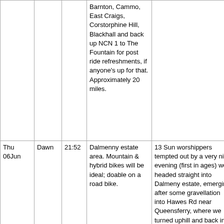| Date | Leader | Time | Route | Report | Links |
| --- | --- | --- | --- | --- | --- |
|  |  |  | Barnton, Cammo, East Craigs, Corstorphine Hill, Blackhall and back up NCN 1 to The Fountain for post ride refreshments, if anyone's up for that. Approximately 20 miles. |  |  |
| Thu 06Jun | Dawn | 21:52 | Dalmenny estate area. Mountain & hybrid bikes will be ideal; doable on a road bike. | 13 Sun worshippers tempted out by a very nice evening (first in ages) we headed straight into Dalmeny estate, emerging after some gravellation into Hawes Rd near Queensferry, where we turned uphill and back into the estate to whizz down the rollers and out again at | https://www.strava.co
https://www.relive.co |